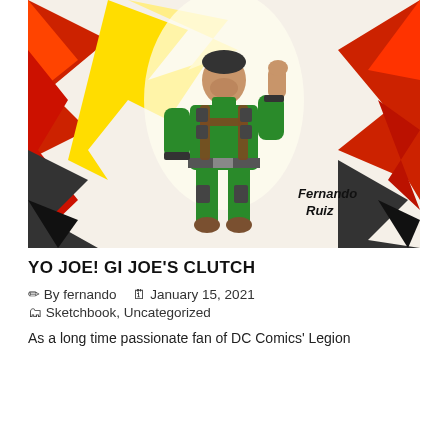[Figure (illustration): Comic book style illustration of GI Joe's Clutch character wearing a green jumpsuit with brown harness and tactical gear, posed confidently with one hand raised to face. Explosive red, yellow, and black background with artist signature 'Fernando Ruiz' in bottom right.]
YO JOE! GI JOE'S CLUTCH
✏ By fernando  🗓 January 15, 2021
🗂 Sketchbook, Uncategorized
As a long time passionate fan of DC Comics' Legion